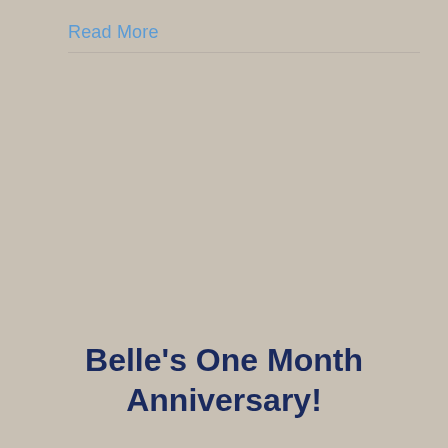Read More
Belle's One Month Anniversary!